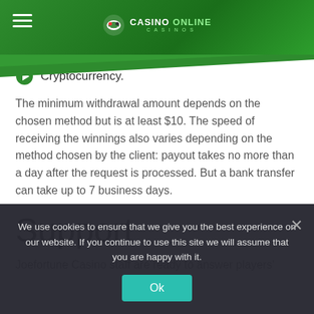CASINO ONLINE
Cryptocurrency.
The minimum withdrawal amount depends on the chosen method but is at least $10. The speed of receiving the winnings also varies depending on the method chosen by the client: payout takes no more than a day after the request is processed. But a bank transfer can take up to 7 business days.
Support
Joefortune Casino staff are ready to answer players'
We use cookies to ensure that we give you the best experience on our website. If you continue to use this site we will assume that you are happy with it.